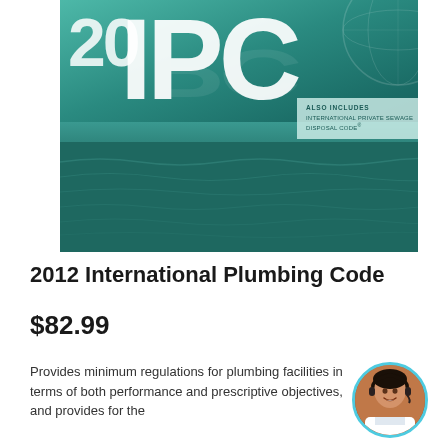[Figure (photo): Book cover of 2012 International Plumbing Code (IPC) with teal/green color scheme showing large IPC text, '20' year text on left side, ocean water in lower half, globe decoration in upper right, and a banner reading 'ALSO INCLUDES INTERNATIONAL PRIVATE SEWAGE DISPOSAL CODE']
2012 International Plumbing Code
$82.99
Provides minimum regulations for plumbing facilities in terms of both performance and prescriptive objectives, and provides for the